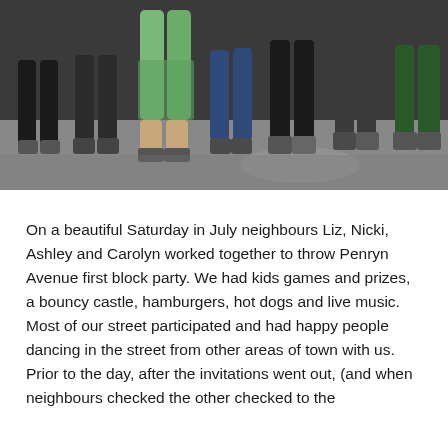[Figure (photo): Outdoor photo showing the lower halves of a group of people standing on a street/pavement, wearing shorts and sandals/sneakers. A person in the middle wears a green patterned outfit. The background shows a blurred dark wall and pavement.]
On a beautiful Saturday in July neighbours Liz, Nicki, Ashley and Carolyn worked together to throw Penryn Avenue first block party. We had kids games and prizes, a bouncy castle, hamburgers, hot dogs and live music.  Most of our street participated and had happy people dancing in the street from other areas of town with us.
Prior to the day, after the invitations went out, (and when neighbours checked the other checked to the...